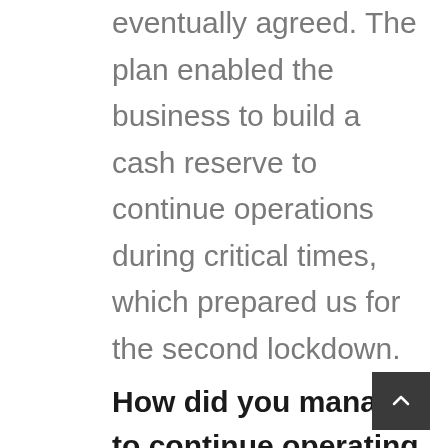eventually agreed. The plan enabled the business to build a cash reserve to continue operations during critical times, which prepared us for the second lockdown.
How did you manage to continue operating